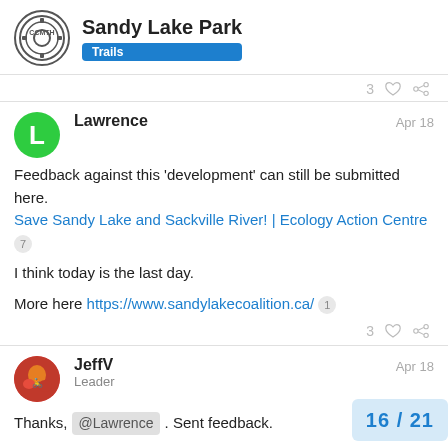Sandy Lake Park Trails
Feedback against this 'development' can still be submitted here. Save Sandy Lake and Sackville River! | Ecology Action Centre 7
I think today is the last day.
More here https://www.sandylakecoalition.ca/ 1
JeffV Leader Apr 18
Thanks, @Lawrence . Sent feedback.
16 / 21